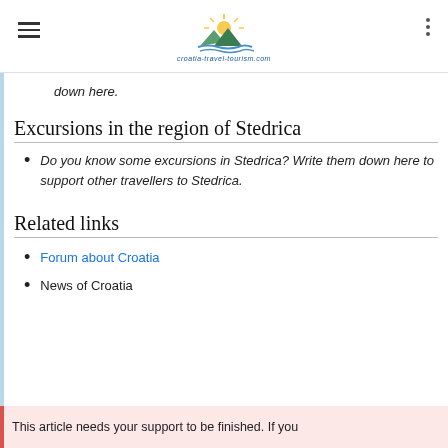croatia-travel-tourism.com logo navigation
down here.
Excursions in the region of Stedrica
Do you know some excursions in Stedrica? Write them down here to support other travellers to Stedrica.
Related links
Forum about Croatia
News of Croatia
This article needs your support to be finished. If you